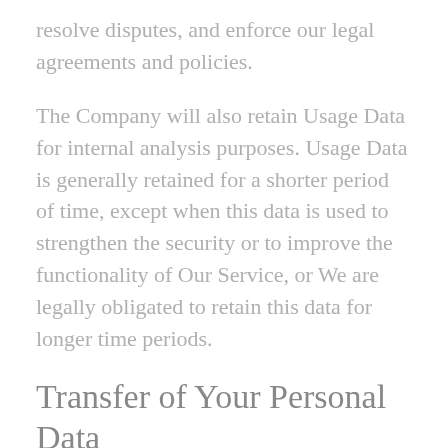resolve disputes, and enforce our legal agreements and policies.
The Company will also retain Usage Data for internal analysis purposes. Usage Data is generally retained for a shorter period of time, except when this data is used to strengthen the security or to improve the functionality of Our Service, or We are legally obligated to retain this data for longer time periods.
Transfer of Your Personal Data
Your information, including Personal Data, is processed at the Company's operating offices and in any other places where the parties involved in the